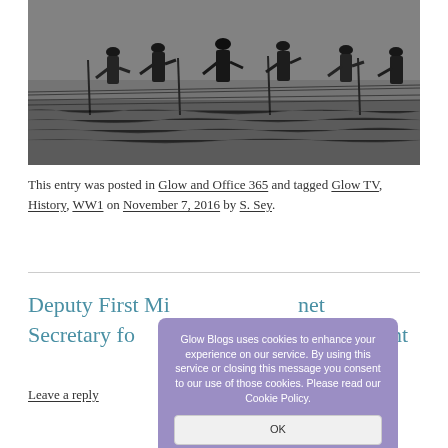[Figure (photo): Black and white World War I photograph showing soldiers crossing barbed wire in a field]
This entry was posted in Glow and Office 365 and tagged Glow TV, History, WW1 on November 7, 2016 by S. Sey.
Deputy First Minister Cabinet Secretary for Education Commemorative Event
Leave a reply
Glow Blogs uses cookies to enhance your experience on our service. By using this service or closing this message you consent to our use of those cookies. Please read our Cookie Policy.